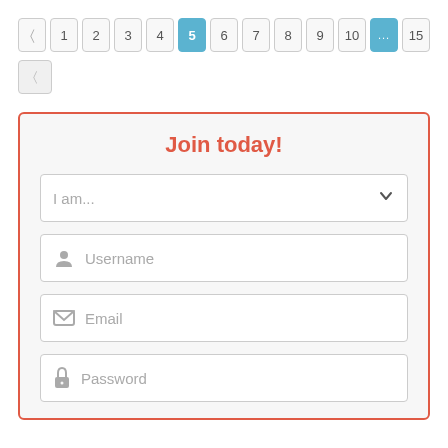[Figure (screenshot): Pagination control with buttons: left arrow, 1, 2, 3, 4, 5 (active/blue), 6, 7, 8, 9, 10, ... (blue), 15]
[Figure (screenshot): Single disabled/greyed pagination button (left arrow)]
[Figure (screenshot): Registration form panel with red border titled 'Join today!' containing dropdown 'I am...', Username field, Email field, Password field]